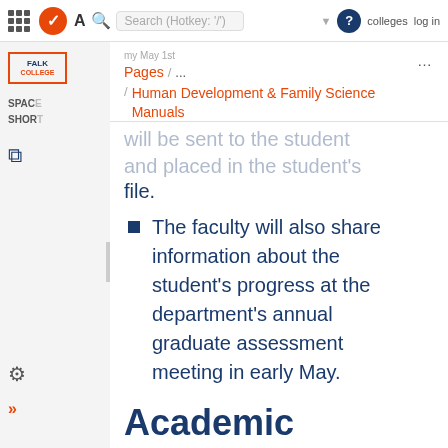A  Search (Hotkey: '/')  colleges  log in
Pages / ... / Human Development & Family Science Manuals
file.
The faculty will also share information about the student's progress at the department's annual graduate assessment meeting in early May.
Academic Standards